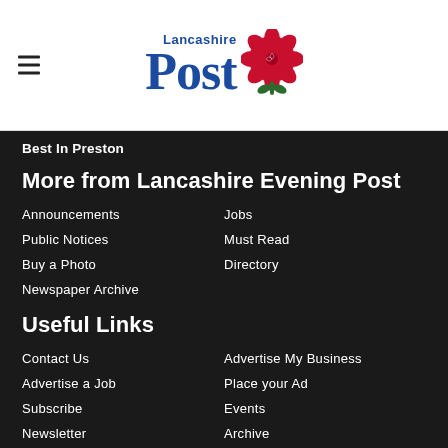[Figure (logo): Lancashire Post newspaper logo with blue text and red rose graphic]
Best In Preston
More from Lancashire Evening Post
Announcements
Jobs
Public Notices
Must Read
Buy a Photo
Directory
Newspaper Archive
Useful Links
Contact Us
Advertise My Business
Advertise a Job
Place your Ad
Subscribe
Events
Newsletter
Archive
Readers Charter